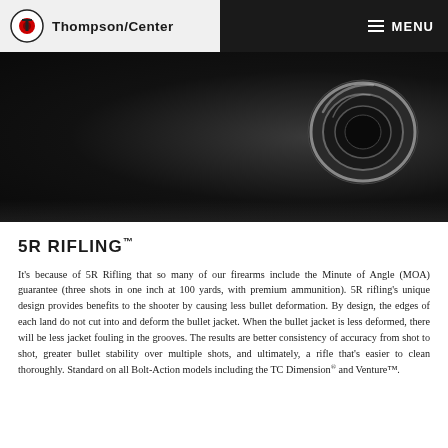Thompson/Center | MENU
[Figure (photo): Close-up of a dark rifle barrel muzzle on a black background, showing the circular bore opening with metallic sheen.]
5R RIFLING™
It's because of 5R Rifling that so many of our firearms include the Minute of Angle (MOA) guarantee (three shots in one inch at 100 yards, with premium ammunition). 5R rifling's unique design provides benefits to the shooter by causing less bullet deformation. By design, the edges of each land do not cut into and deform the bullet jacket. When the bullet jacket is less deformed, there will be less jacket fouling in the grooves. The results are better consistency of accuracy from shot to shot, greater bullet stability over multiple shots, and ultimately, a rifle that's easier to clean thoroughly. Standard on all Bolt-Action models including the TC Dimension® and Venture™.